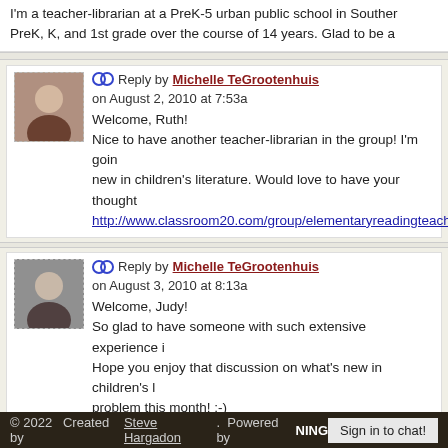I'm a teacher-librarian at a PreK-5 urban public school in Southern... PreK, K, and 1st grade over the course of 14 years. Glad to be a
Reply by Michelle TeGrootenhuis on August 2, 2010 at 7:53a
Welcome, Ruth!
Nice to have another teacher-librarian in the group! I'm going... new in children's literature. Would love to have your thought...
http://www.classroom20.com/group/elementaryreadingteach
Reply by Michelle TeGrootenhuis on August 3, 2010 at 8:13a
Welcome, Judy!
So glad to have someone with such extensive experience i... Hope you enjoy that discussion on what's new in children's l... problem this month! :-)
-Michelle TG
Pagination: Previous, 1, ..., 6, 7, 8, 9, Next
[Figure (other): RSS feed icon]
© 2022   Created by Steve Hargadon.  Powered by NING   Sign in to chat!